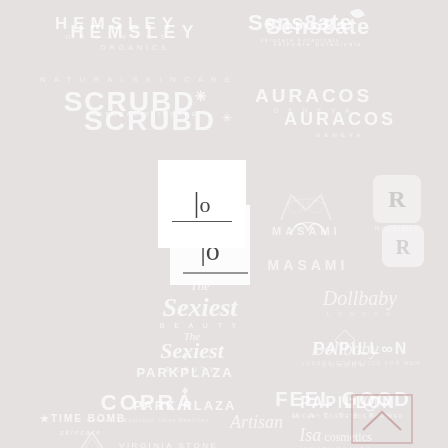[Figure (logo): Collection of brand logos on light grey background: Hemsley, Sens8ate skincare botanicals, SCRUBD, AURACOS Geneva, LO (logo mark), MASAMI, Ritualaire, The Sexiest Beauty, Dollbaby, PARK PLAZA, PAPILLON, COPRA, FEEL GOOD MATTERS, Virginia Stone, Isa Cosmetics, TIME BOMB skincare, Artisan, and an upward arrow icon]